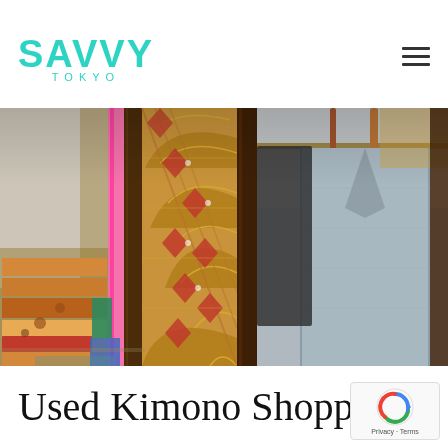SAVVY TOKYO
[Figure (photo): Interior of a used kimono shop in Tokyo, showing folded kimono stacks on shelves on the left, a decorative patterned obi/textile panel in the center with red diamond and fan motifs on gold/brown background, and hanging garments on racks on the right including a light grey/blue kimono. Pink curtain visible in background.]
Used Kimono Shopping